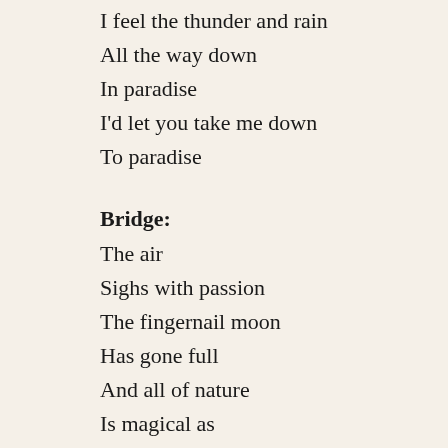I feel the thunder and rain
All the way down
In paradise
I'd let you take me down
To paradise
Bridge:
The air
Sighs with passion
The fingernail moon
Has gone full
And all of nature
Is magical as
The two of us
In bloom
Chorus:
Feel the sun beating down
All the way down
In paradise